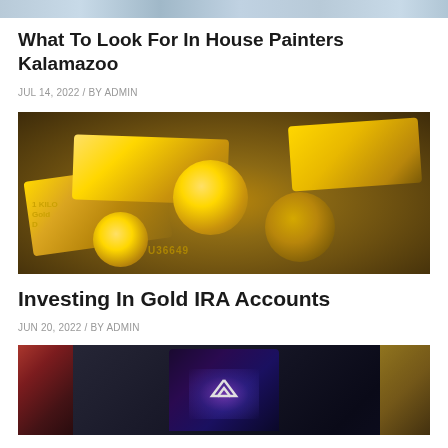[Figure (photo): Partial top strip of a photo — cropped header image]
What To Look For In House Painters Kalamazoo
JUL 14, 2022 / BY ADMIN
[Figure (photo): Gold bars and gold coins stacked together, with text '1 KILO Gold' and serial number U36649 visible]
Investing In Gold IRA Accounts
JUN 20, 2022 / BY ADMIN
[Figure (photo): ASUS ROG laptop with glowing purple/blue screen showing the ROG logo, surrounded by electronics in the background]